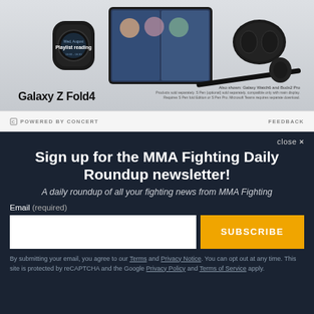[Figure (photo): Samsung Galaxy Z Fold4 advertisement showing the phone, Galaxy Watch6, Buds2 Pro, S Pen on a light gray background]
Galaxy Z Fold4
Also shown: Galaxy Watch6 and Buds2 Pro
Products sold separately. S Pen (optional) sold separately, compatible only with main display. Requires S Pen fold Edition or S Pen Pro. Microsoft Teams requires separate download.
POWERED BY CONCERT
FEEDBACK
close ×
Sign up for the MMA Fighting Daily Roundup newsletter!
A daily roundup of all your fighting news from MMA Fighting
Email (required)
SUBSCRIBE
By submitting your email, you agree to our Terms and Privacy Notice. You can opt out at any time. This site is protected by reCAPTCHA and the Google Privacy Policy and Terms of Service apply.